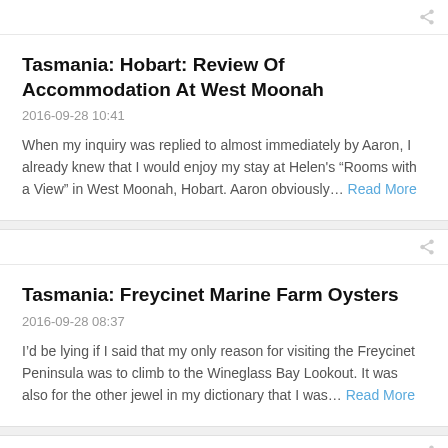Tasmania: Hobart: Review Of Accommodation At West Moonah
2016-09-28 10:41
When my inquiry was replied to almost immediately by Aaron, I already knew that I would enjoy my stay at Helen's “Rooms with a View” in West Moonah, Hobart. Aaron obviously… Read More
Tasmania: Freycinet Marine Farm Oysters
2016-09-28 08:37
I’d be lying if I said that my only reason for visiting the Freycinet Peninsula was to climb to the Wineglass Bay Lookout. It was also for the other jewel in my dictionary that I was… Read More